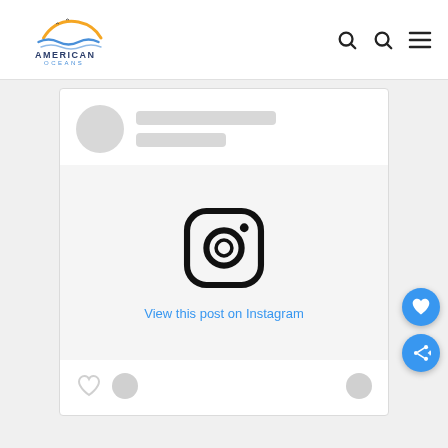American Oceans
[Figure (screenshot): Instagram embed placeholder card showing avatar placeholder, gray content bars, Instagram camera icon, 'View this post on Instagram' link in blue, and footer interaction icons. Floating heart and share action buttons on the right side.]